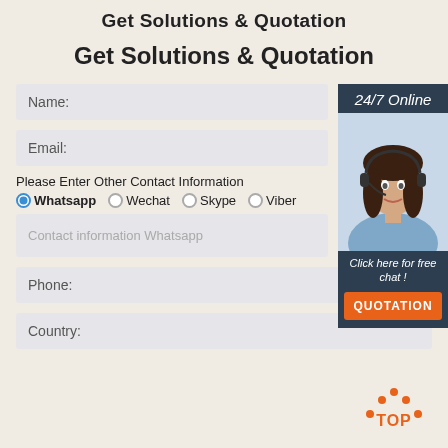Get Solutions & Quotation
Get Solutions & Quotation
Name:
Email:
Please Enter Other Contact Information
Whatsapp  Wechat  Skype  Viber
Contact information Whatsapp
Phone:
Country:
[Figure (illustration): Customer service representative with headset, sidebar panel with '24/7 Online' header, 'Click here for free chat!' text, and orange QUOTATION button]
[Figure (other): Orange dotted arc TOP button icon in bottom right]